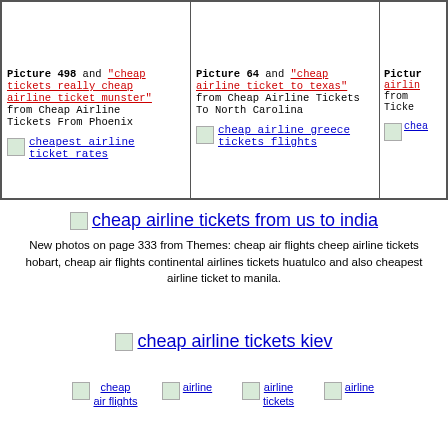[Figure (screenshot): Grid of picture cells with Picture 498 and cheap tickets really cheap airline ticket munster from Cheap Airline Tickets From Phoenix, with cheapest airline ticket rates link]
[Figure (screenshot): Picture 64 and cheap airline ticket to texas from Cheap Airline Tickets To North Carolina, with cheap airline greece tickets flights link]
[Figure (screenshot): Third partial cell with Picture and airline text from Tickets, with partial cheap link]
[Figure (other): cheap airline tickets from us to india image placeholder with link]
New photos on page 333 from Themes: cheap air flights cheep airline tickets hobart, cheap air flights continental airlines tickets huatulco and also cheapest airline ticket to manila.
[Figure (other): cheap airline tickets kiev image placeholder with link]
[Figure (other): Row of four image placeholders: cheap air flights, airline, airline tickets, airline]
cheap air flights | airline | airline tickets | airline